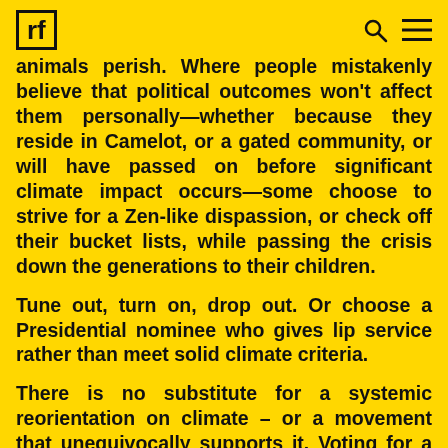rf [logo] [search icon] [menu icon]
animals perish. Where people mistakenly believe that political outcomes won't affect them personally—whether because they reside in Camelot, or a gated community, or will have passed on before significant climate impact occurs—some choose to strive for a Zen-like dispassion, or check off their bucket lists, while passing the crisis down the generations to their children.
Tune out, turn on, drop out. Or choose a Presidential nominee who gives lip service rather than meet solid climate criteria.
There is no substitute for a systemic reorientation on climate – or a movement that unequivocally supports it. Voting for a decisive social and economic reordering in